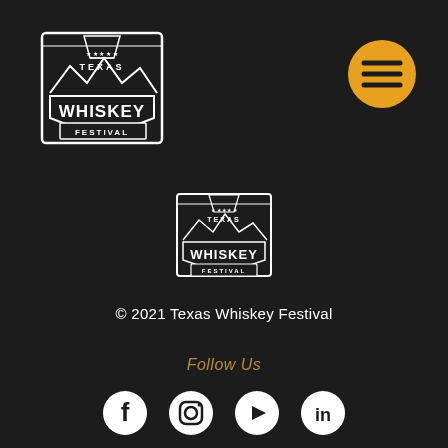[Figure (logo): Texas Whiskey Festival logo, top-left, large white on dark background]
[Figure (logo): Hamburger menu button, orange circle with three horizontal lines, top-right]
[Figure (logo): Texas Whiskey Festival logo, centered, smaller white on dark background]
© 2021 Texas Whiskey Festival
Follow Us
[Figure (infographic): Social media icons row: Facebook, Instagram, YouTube, LinkedIn — white circles on dark background]